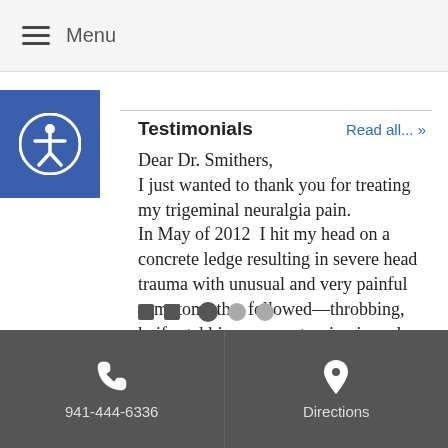Menu
Testimonials
Dear Dr. Smithers,
I just wanted to thank you for treating my trigeminal neuralgia pain.
In May of 2012  I hit my head on a concrete ledge resulting in severe head trauma with unusual and very painful symptoms that followed—throbbing, knife stabbing, severe tension in and around my head, constant clicking noise,
... Read more »
941-444-6336   Directions